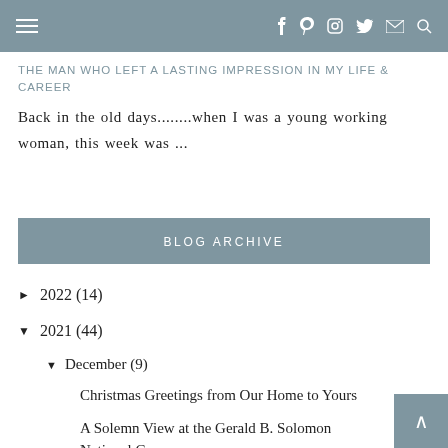Navigation bar with hamburger menu and social icons
THE MAN WHO LEFT A LASTING IMPRESSION IN MY LIFE & CAREER
Back in the old days........when I was a young working woman, this week was ...
BLOG ARCHIVE
► 2022 (14)
▼ 2021 (44)
▼ December (9)
Christmas Greetings from Our Home to Yours
A Solemn View at the Gerald B. Solomon National Ce...